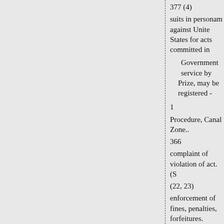377 (4)
suits in personam against Unite States for acts committed in
Government service by Prize, may be registered -
1
Procedure, Canal Zone..
366
complaint of violation of act. (S
(22, 23)
enforcement of fines, penalties, forfeitures.
67,
161, 189, 213, 314, 318, 387 (T (432, 436, 438–440, 445, 448, 454, 459, 460, 462, 464-466, 58
584-589, 594, 598-601, 616, 62 orders of board regarding viola- tions of shipping act---- (S) 461 other than criminal.